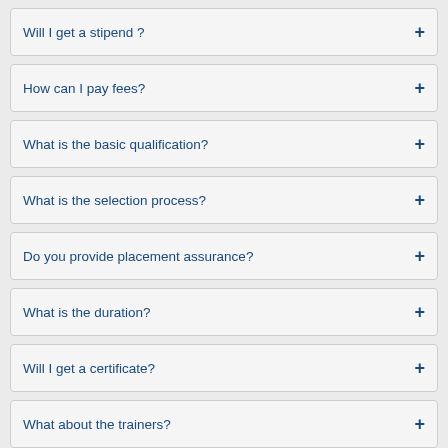Will I get a stipend ?
How can I pay fees?
What is the basic qualification?
What is the selection process?
Do you provide placement assurance?
What is the duration?
Will I get a certificate?
What about the trainers?